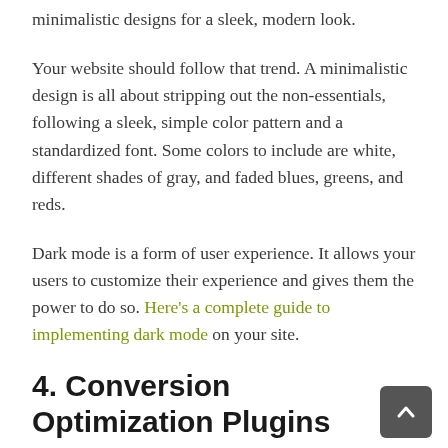minimalistic designs for a sleek, modern look.
Your website should follow that trend. A minimalistic design is all about stripping out the non-essentials, following a sleek, simple color pattern and a standardized font. Some colors to include are white, different shades of gray, and faded blues, greens, and reds.
Dark mode is a form of user experience. It allows your users to customize their experience and gives them the power to do so. Here’s a complete guide to implementing dark mode on your site.
4. Conversion Optimization Plugins
CRO (Conversion Rate Optimization) tools have always been in demand, yet there has never been a greater supply than today. One example of a CRO tool that is taking over countless industries is chatbots. Chatbots are AI-driven virtual assistants that help potential leads find what the looking for on a site. They’re optimized through pattern